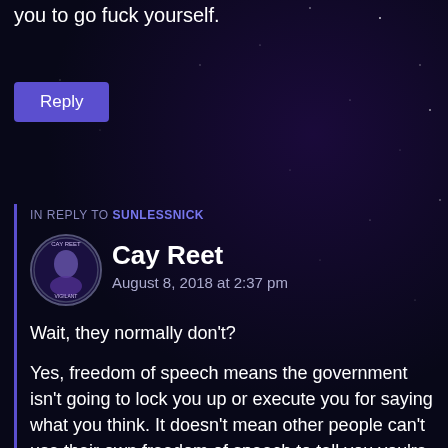you to go fuck yourself.
Reply
IN REPLY TO SUNLESSNICK
Cay Reet
August 8, 2018 at 2:37 pm
Wait, they normally don't?

Yes, freedom of speech means the government isn't going to lock you up or execute you for saying what you think. It doesn't mean other people can't use their own freedom of speech to tell you you're saying rubbish.